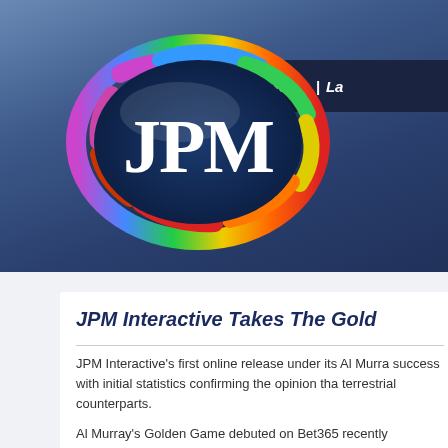[Figure (logo): JPM Interactive logo — a colorful oval with rainbow spectrum rim colors (green, blue, red, yellow, purple) surrounding a dark blue ellipse with white serif 'JPM' text in center]
Home | La
JPM Interactive Takes The Gold
JPM Interactive's first online release under its Al Murra success with initial statistics confirming the opinion tha terrestrial counterparts.
Al Murray's Golden Game debuted on Bet365 recently sportsbetting and global gaming sites. This latest AWP along the side with the way along this way...